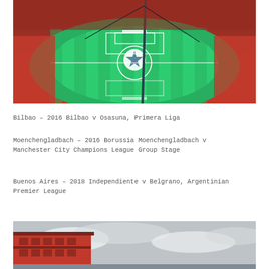[Figure (photo): Aerial/overhead view of a packed football stadium with green pitch, Champions League ball logo at center, stands filled with spectators, floodlight pole visible in foreground.]
Bilbao – 2016 Bilbao v Osasuna, Primera Liga
Moenchengladbach – 2016 Borussia Moenchengladbach v Manchester City Champions League Group Stage
Buenos Aires – 2018 Independiente v Belgrano, Argentinian Premier League
[Figure (photo): Ground-level exterior photo of a red building/stadium structure against a grey cloudy sky.]